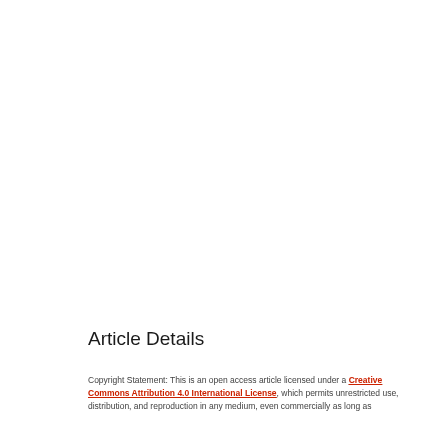Article Details
Copyright Statement: This is an open access article licensed under a Creative Commons Attribution 4.0 International License, which permits unrestricted use, distribution, and reproduction in any medium, even commercially as long as